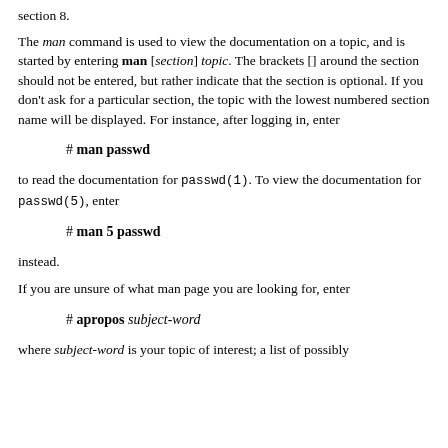section 8.
The man command is used to view the documentation on a topic, and is started by entering man [section] topic. The brackets [] around the section should not be entered, but rather indicate that the section is optional. If you don't ask for a particular section, the topic with the lowest numbered section name will be displayed. For instance, after logging in, enter
# man passwd
to read the documentation for passwd(1). To view the documentation for passwd(5), enter
# man 5 passwd
instead.
If you are unsure of what man page you are looking for, enter
# apropos subject-word
where subject-word is your topic of interest; a list of possibly